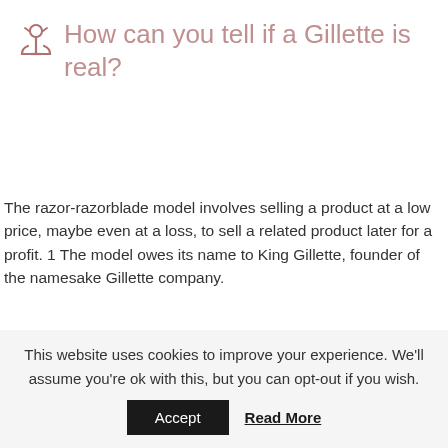How can you tell if a Gillette is real?
The razor-razorblade model involves selling a product at a low price, maybe even at a loss, to sell a related product later for a profit. 1 The model owes its name to King Gillette, founder of the namesake Gillette company.
Where are Gillette Sensor Excel blades made?
This website uses cookies to improve your experience. We'll assume you're ok with this, but you can opt-out if you wish.
Accept   Read More